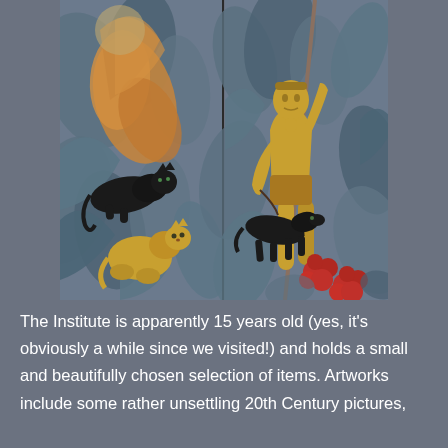[Figure (illustration): Two-panel Art Deco style artwork. Left panel shows a jungle scene with blue-grey foliage, large orange/gold leaves, a black panther/cat lying above a golden crouching cat figure. Right panel shows a golden male figure (hunter/warrior) holding a spear/staff with a black greyhound dog on a leash, surrounded by blue-grey foliage and red flowers at the bottom.]
The Institute is apparently 15 years old (yes, it's obviously a while since we visited!) and holds a small and beautifully chosen selection of items. Artworks include some rather unsettling 20th Century pictures,